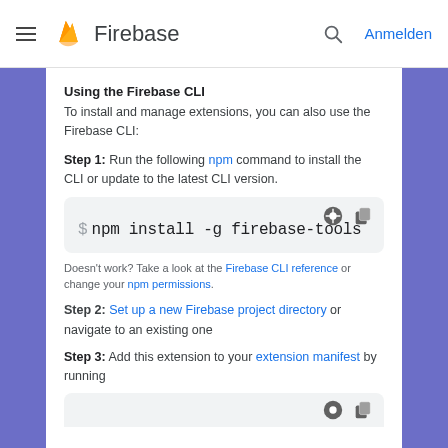Firebase – Anmelden
Using the Firebase CLI
To install and manage extensions, you can also use the Firebase CLI:
Step 1: Run the following npm command to install the CLI or update to the latest CLI version.
[Figure (screenshot): Code block showing: $ npm install -g firebase-tools]
Doesn't work? Take a look at the Firebase CLI reference or change your npm permissions.
Step 2: Set up a new Firebase project directory or navigate to an existing one
Step 3: Add this extension to your extension manifest by running
[Figure (screenshot): Partial code block at bottom of page]